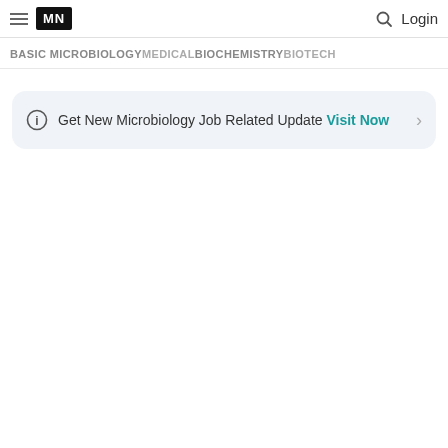MN | Login
BASIC MICROBIOLOGYMEDICALBIOCHEMISTRYBIOTECH
Get New Microbiology Job Related Update Visit Now